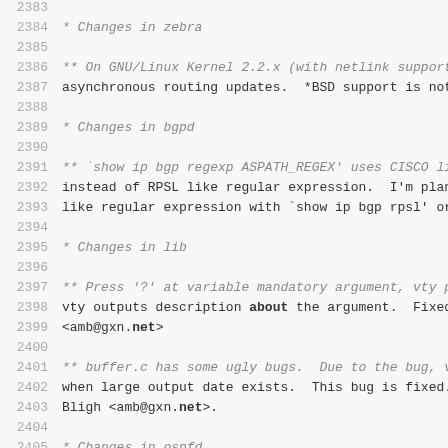2383
2384  * Changes in zebra
2385
2386  ** On GNU/Linux Kernel 2.2.x (with netlink support),
2387  asynchronous routing updates.  *BSD support is not ye
2388
2389  * Changes in bgpd
2390
2391  ** `show ip bgp regexp ASPATH_REGEX' uses CISCO like
2392  instead of RPSL like regular expression.  I'm planing
2393  like regular expression with `show ip bgp rpsl' or so
2394
2395  * Changes in lib
2396
2397  ** Press '?' at variable mandatory argument, vty prin
2398  vty outputs description about the argument.  Fixed by
2399  <amb@gxn.net>
2400
2401  ** buffer.c has some ugly bugs.  Due to the bug, vty
2402  when large output date exists.  This bug is fixed. Re
2403  Bligh <amb@gxn.net>.
2404
2405  * Changes in ospfd